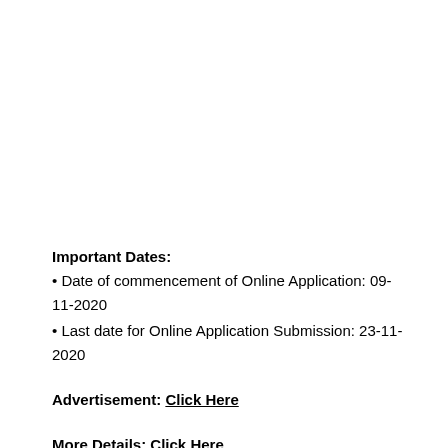Important Dates:
Date of commencement of Online Application: 09-11-2020
Last date for Online Application Submission: 23-11-2020
Advertisement: Click Here
More Details: Click Here
Apply Online: Click Here